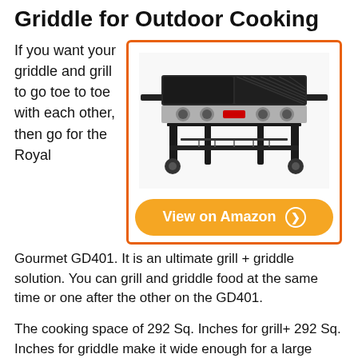Griddle for Outdoor Cooking
If you want your griddle and grill to go toe to toe with each other, then go for the Royal Gourmet GD401. It is an ultimate grill + griddle solution. You can grill and griddle food at the same time or one after the other on the GD401.
[Figure (photo): Royal Gourmet GD401 griddle and grill combo product photo with orange border and View on Amazon button]
The cooking space of 292 Sq. Inches for grill+ 292 Sq. Inches for griddle make it wide enough for a large family to utilize the large area and fill